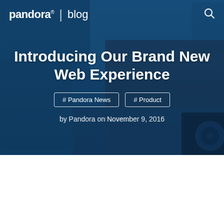pandora® | blog
[Figure (screenshot): Hero background showing Pandora web app UI screenshots collaged on a dark blue background, including a portrait of a person wearing headphones and various music player interface tiles including 'The Shins' text]
Introducing Our Brand New Web Experience
# Pandora News
# Product
by Pandora on November 9, 2016
Pandora's musical evolution continues with a